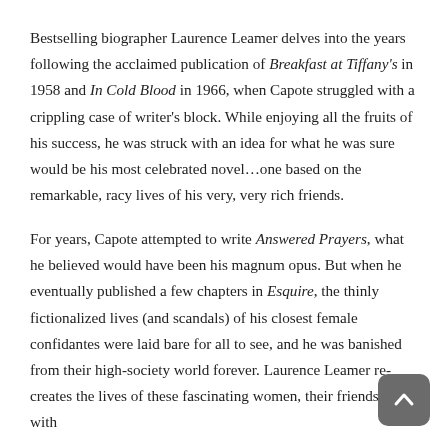Bestselling biographer Laurence Leamer delves into the years following the acclaimed publication of Breakfast at Tiffany's in 1958 and In Cold Blood in 1966, when Capote struggled with a crippling case of writer's block. While enjoying all the fruits of his success, he was struck with an idea for what he was sure would be his most celebrated novel…one based on the remarkable, racy lives of his very, very rich friends.
For years, Capote attempted to write Answered Prayers, what he believed would have been his magnum opus. But when he eventually published a few chapters in Esquire, the thinly fictionalized lives (and scandals) of his closest female confidantes were laid bare for all to see, and he was banished from their high-society world forever. Laurence Leamer re-creates the lives of these fascinating women, their friendships with...